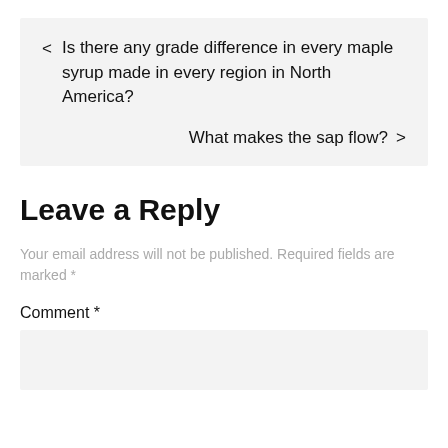< Is there any grade difference in every maple syrup made in every region in North America?
What makes the sap flow? >
Leave a Reply
Your email address will not be published. Required fields are marked *
Comment *